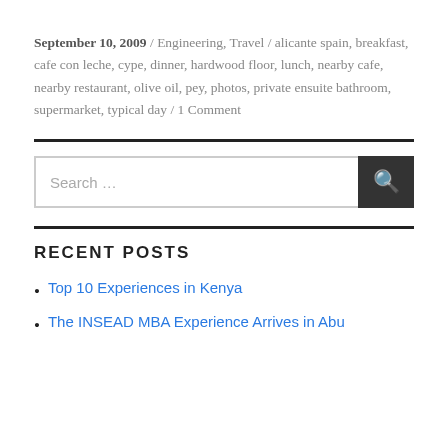September 10, 2009 / Engineering, Travel / alicante spain, breakfast, cafe con leche, cype, dinner, hardwood floor, lunch, nearby cafe, nearby restaurant, olive oil, pey, photos, private ensuite bathroom, supermarket, typical day / 1 Comment
RECENT POSTS
Top 10 Experiences in Kenya
The INSEAD MBA Experience Arrives in Abu